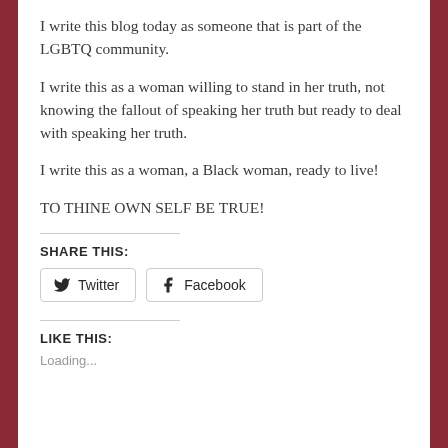I write this blog today as someone that is part of the LGBTQ community.
I write this as a woman willing to stand in her truth, not knowing the fallout of speaking her truth but ready to deal with speaking her truth.
I write this as a woman, a Black woman, ready to live!
TO THINE OWN SELF BE TRUE!
SHARE THIS:
Twitter  Facebook
LIKE THIS:
Loading...